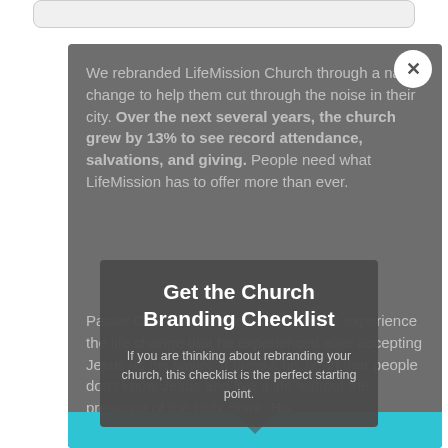We rebranded LifeMission Church through a name change to help them cut through the noise in their city. Over the next several years, the church grew by 13% to see record attendance, salvations, and giving. People need what LifeMission has to offer more than ever.
Get the Church Branding Checklist
If you are thinking about rebranding your church, this checklist is the perfect starting point.
Pastor Clint wants to see more people experience the life change that he experienced after accepting Jesus as his savior. It breaks his heart that people don't know Jesus and live a life without the presence of the Holy Spirit. His